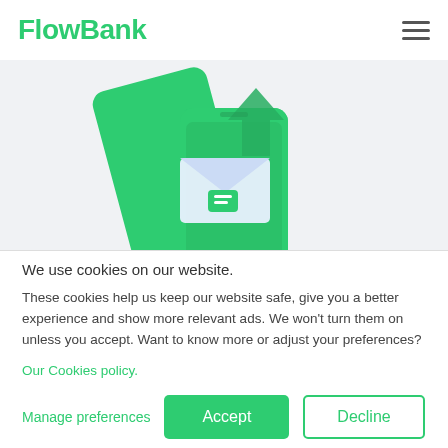FlowBank
[Figure (illustration): Illustration of a smartphone with a green background and an envelope/email icon with a green arrow, representing digital banking or messaging, on a light gray background.]
We use cookies on our website.
These cookies help us keep our website safe, give you a better experience and show more relevant ads. We won't turn them on unless you accept. Want to know more or adjust your preferences?
Our Cookies policy.
Manage preferences
Accept
Decline